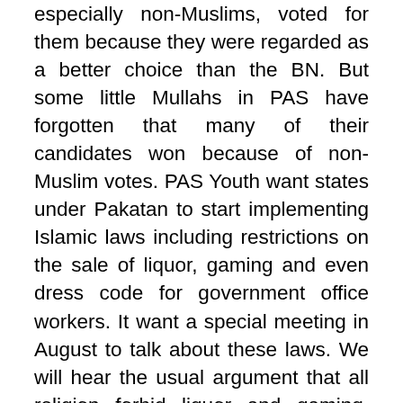especially non-Muslims, voted for them because they were regarded as a better choice than the BN. But some little Mullahs in PAS have forgotten that many of their candidates won because of non-Muslim votes. PAS Youth want states under Pakatan to start implementing Islamic laws including restrictions on the sale of liquor, gaming and even dress code for government office workers. It want a special meeting in August to talk about these laws. We will hear the usual argument that all religion forbid liquor and gaming. That's true but many of us also exercise tolerance if others want to drink or gamble. Some will call critics infidels again. But leaders including Lim Kit